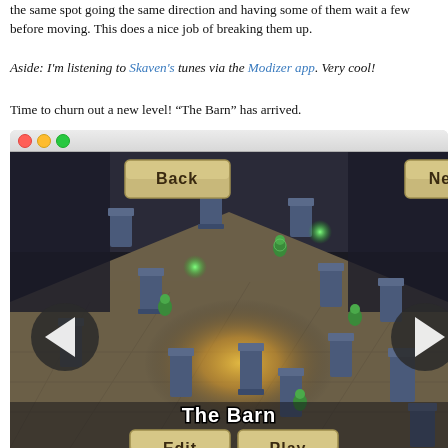the same spot going the same direction and having some of them wait a few before moving. This does a nice job of breaking them up.
Aside: I'm listening to Skaven's tunes via the Modizer app. Very cool!
Time to churn out a new level! “The Barn” has arrived.
[Figure (screenshot): Game screenshot showing 'The Barn' level with isometric view of a dark dungeon with blue pillars, green glowing creatures, a warm yellow light source in the center, navigation arrows, and UI buttons: Back, Next, Edit, Play.]